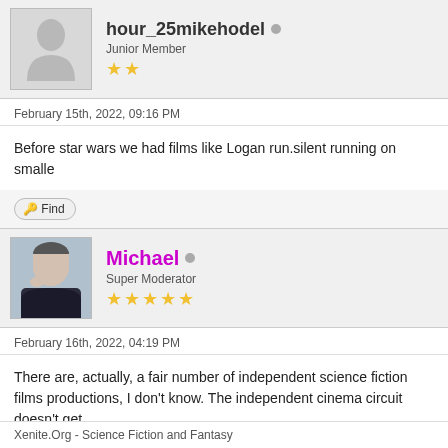[Figure (other): User avatar placeholder (silhouette) for hour_25mikehodel]
hour_25mikehodel  Junior Member ★★
February 15th, 2022, 09:16 PM
Before star wars we had films like Logan run.silent running on smalle
Find
[Figure (photo): Profile photo of Michael, Super Moderator]
Michael  Super Moderator ★★★★★
February 16th, 2022, 04:19 PM
There are, actually, a fair number of independent science fiction films productions, I don't know. The independent cinema circuit doesn't get
I think that indy film makers are choosing digital distribution more ofte
Xenite.Org - Science Fiction and Fantasy